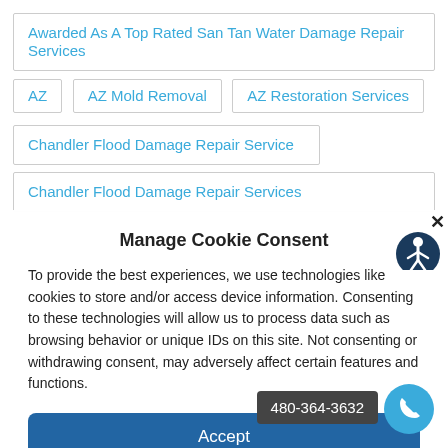Awarded As A Top Rated San Tan Water Damage Repair Services
AZ
AZ Mold Removal
AZ Restoration Services
Chandler Flood Damage Repair Service
Chandler Flood Damage Repair Services
Manage Cookie Consent
To provide the best experiences, we use technologies like cookies to store and/or access device information. Consenting to these technologies will allow us to process data such as browsing behavior or unique IDs on this site. Not consenting or withdrawing consent, may adversely affect certain features and functions.
Accept
Cookie Policy   Privacy Policy
480-364-3632